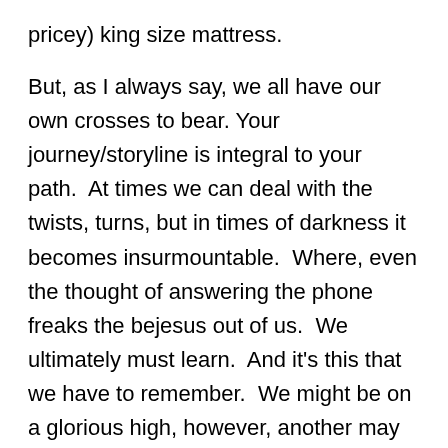pricey) king size mattress.

But, as I always say, we all have our own crosses to bear. Your journey/storyline is integral to your path.  At times we can deal with the twists, turns, but in times of darkness it becomes insurmountable.  Where, even the thought of answering the phone freaks the bejesus out of us.  We ultimately must learn.  And it's this that we have to remember.  We might be on a glorious high, however, another may not be.  Also, not only does our own storyline affect others (exhibit a. RDog), by implications and stresses on causing upset in another's life (guilty feelings linger often) but the sub-plotters are living their own storylines too.  I'm lucky that I've had brilliant friends and family around me over the past past few months.  Lots of advice, tears and plenty of laughter (thanks for the